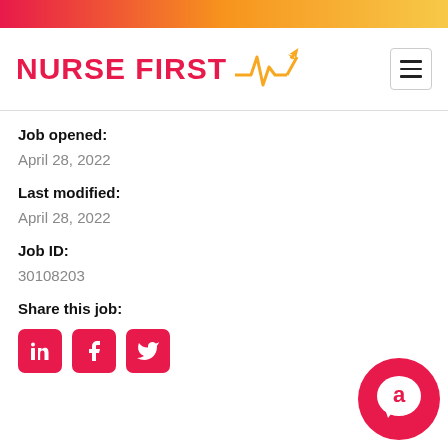NURSE FIRST
Job opened:
April 28, 2022
Last modified:
April 28, 2022
Job ID:
30108203
Share this job:
[Figure (logo): LinkedIn, Facebook, Twitter social share icons in red squares]
[Figure (logo): Chat bubble icon in pink/red circle at bottom right]